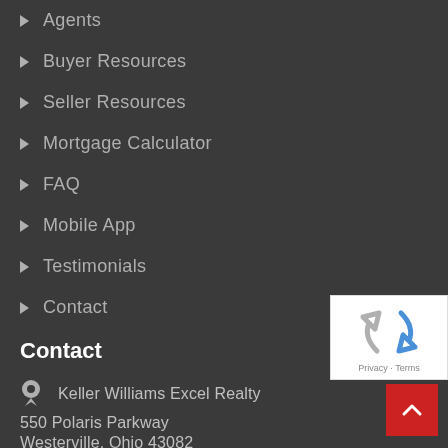Agents
Buyer Resources
Seller Resources
Mortgage Calculator
FAQ
Mobile App
Testimonials
Contact
[Figure (logo): reCAPTCHA logo with Privacy and Terms links]
Contact
Keller Williams Excel Realty
550 Polaris Parkway
Westerville, Ohio 43082